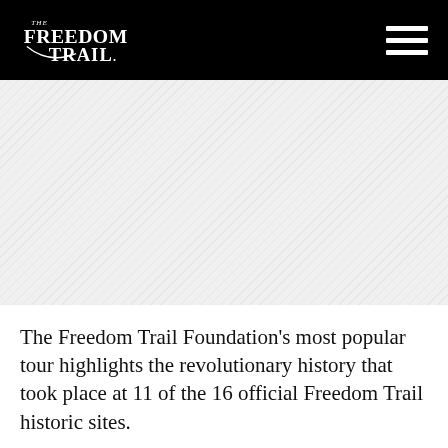[Figure (logo): The Freedom Trail logo in white text on black background, with hamburger menu icon on the right]
The Freedom Trail Foundation's most popular tour highlights the revolutionary history that took place at 11 of the 16 official Freedom Trail historic sites.